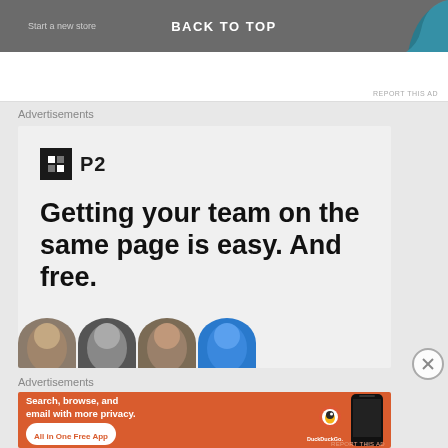BACK TO TOP
REPORT THIS AD
Advertisements
[Figure (infographic): P2 advertisement with logo and text: Getting your team on the same page is easy. And free. with avatar images at bottom.]
Advertisements
[Figure (infographic): DuckDuckGo advertisement on orange background: Search, browse, and email with more privacy. All in One Free App. With phone image and DuckDuckGo logo.]